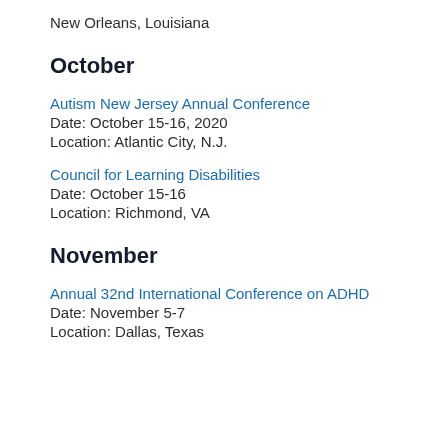New Orleans, Louisiana
October
Autism New Jersey Annual Conference
Date: October 15-16, 2020
Location: Atlantic City, N.J.
Council for Learning Disabilities
Date: October 15-16
Location: Richmond, VA
November
Annual 32nd International Conference on ADHD
Date: November 5-7
Location: Dallas, Texas